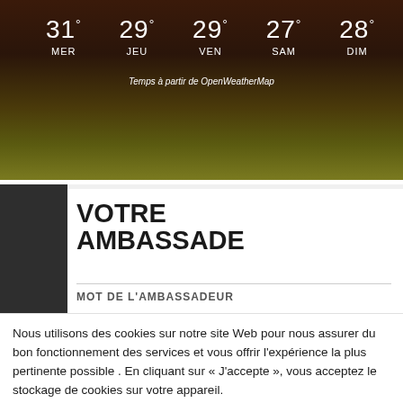[Figure (screenshot): Weather widget showing 5-day forecast over a dark nature background with grass/field at night. Days displayed: MER 31°, JEU 29°, VEN 29°, SAM 27°, DIM 28°. Source credit: Temps à partir de OpenWeatherMap.]
VOTRE AMBASSADE
MOT DE L'AMBASSADEUR
Nous utilisons des cookies sur notre site Web pour nous assurer du bon fonctionnement des services et vous offrir l'expérience la plus pertinente possible . En cliquant sur « J'accepte », vous acceptez le stockage de cookies sur votre appareil.